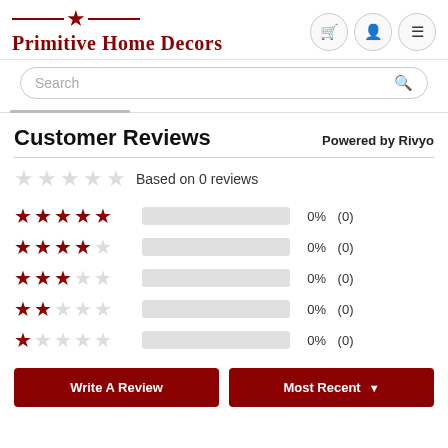Primitive Home Decors
Customer Reviews
Powered by Rivyo
Based on 0 reviews
| Stars | Bar | Percent | Count |
| --- | --- | --- | --- |
| 5 stars |  | 0% | (0) |
| 4 stars |  | 0% | (0) |
| 3 stars |  | 0% | (0) |
| 2 stars |  | 0% | (0) |
| 1 star |  | 0% | (0) |
Write A Review
Most Recent